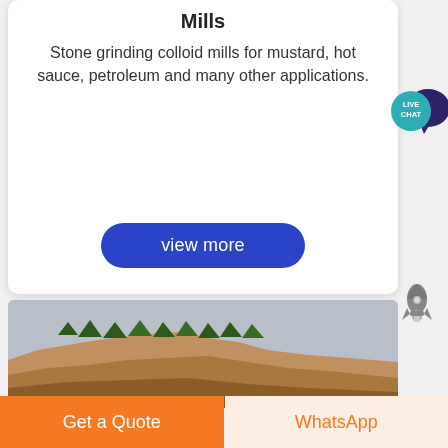Mills
Stone grinding colloid mills for mustard, hot sauce, petroleum and many other applications.
[Figure (other): Blue rounded 'view more' button]
[Figure (photo): Photograph of a rocky cliff face with trees along the top edge against a grey sky]
[Figure (other): Live Chat speech bubble icon in teal/dark blue]
[Figure (other): Rocket icon in grey]
Get a Quote
WhatsApp